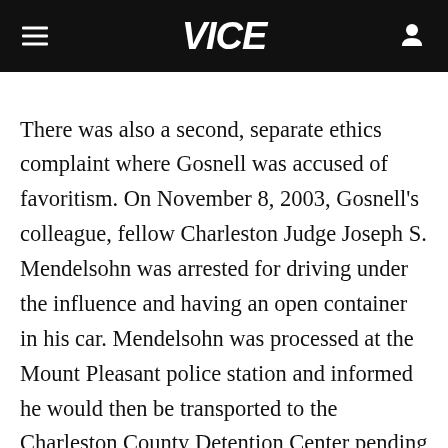VICE
There was also a second, separate ethics complaint where Gosnell was accused of favoritism. On November 8, 2003, Gosnell's colleague, fellow Charleston Judge Joseph S. Mendelsohn was arrested for driving under the influence and having an open container in his car. Mendelsohn was processed at the Mount Pleasant police station and informed he would then be transported to the Charleston County Detention Center pending a bond hearing the following morning.
Mendelsohn telephoned Gosnell, who asked the